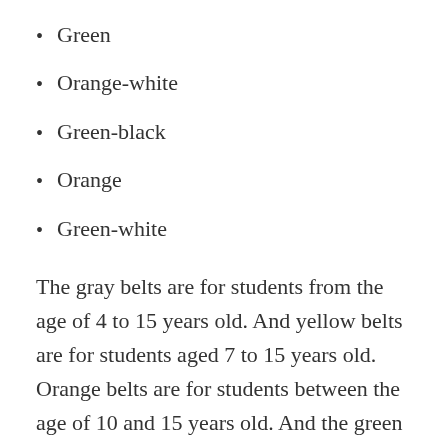Green
Orange-white
Green-black
Orange
Green-white
The gray belts are for students from the age of 4 to 15 years old. And yellow belts are for students aged 7 to 15 years old. Orange belts are for students between the age of 10 and 15 years old. And the green belts are for students from the age of 13 to 15 years old. A BJJ instructor ultimately decides how students are...